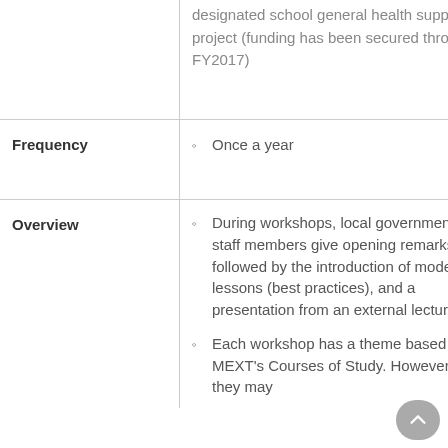|  | designated school general health support project (funding has been secured through FY2017) |
| Frequency | Once a year |
| Overview | During workshops, local government staff members give opening remarks, followed by the introduction of model lessons (best practices), and a presentation from an external lecturer

Each workshop has a theme based on MEXT's Courses of Study. However, they may |